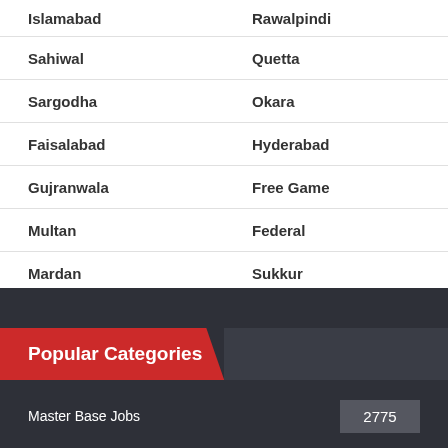Islamabad | Rawalpindi
Sahiwal | Quetta
Sargodha | Okara
Faisalabad | Hyderabad
Gujranwala | Free Game
Multan | Federal
Mardan | Sukkur
Popular Categories
Master Base Jobs 2775